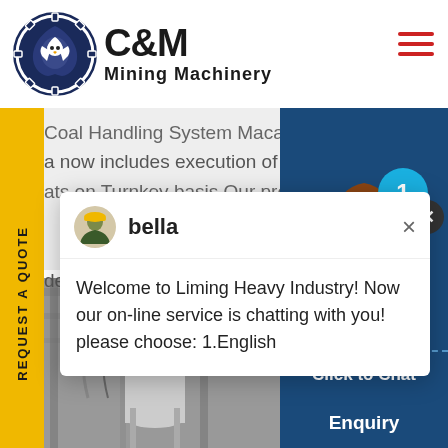[Figure (logo): C&M Mining Machinery logo with eagle in gear circle]
Coal Handling System Macawber Beekay's diversified a now includes execution of Coal/Lime Handling ats on Turnkey basis Our profile comprises of
aders and Stacker-cum-Reclaim
[Figure (screenshot): Chat popup with agent 'bella' from Liming Heavy Industry saying: Welcome to Liming Heavy Industry! Now our on-line service is chatting with you! please choose: 1.English]
[Figure (photo): Customer service agent woman with headset on right side, with notification badge showing 1, Click to Chat button, and Enquiry button]
[Figure (photo): Industrial machinery / coal handling equipment in greyscale]